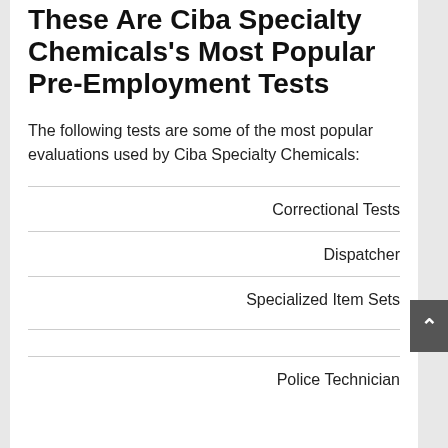These Are Ciba Specialty Chemicals's Most Popular Pre-Employment Tests
The following tests are some of the most popular evaluations used by Ciba Specialty Chemicals:
Correctional Tests
Dispatcher
Specialized Item Sets
Police Technician